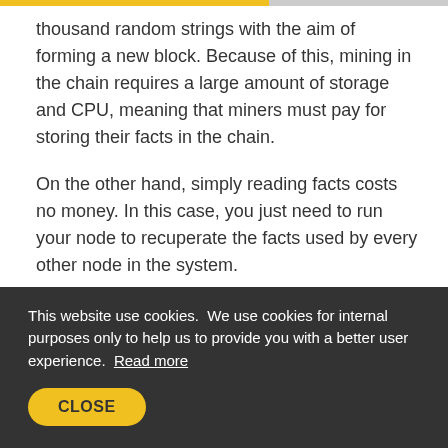thousand random strings with the aim of forming a new block. Because of this, mining in the chain requires a large amount of storage and CPU, meaning that miners must pay for storing their facts in the chain.
On the other hand, simply reading facts costs no money. In this case, you just need to run your node to recuperate the facts used by every other node in the system.
So, to sum it up:
You can read the data for free
This website use cookies. We use cookies for internal purposes only to help us to provide you with a better user experience. Read more
CLOSE